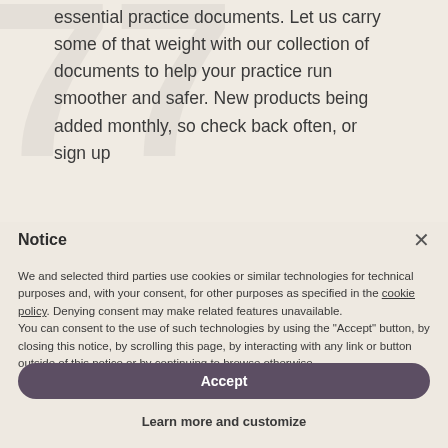essential practice documents. Let us carry some of that weight with our collection of documents to help your practice run smoother and safer. New products being added monthly, so check back often, or sign up
Notice
We and selected third parties use cookies or similar technologies for technical purposes and, with your consent, for other purposes as specified in the cookie policy. Denying consent may make related features unavailable.
You can consent to the use of such technologies by using the “Accept” button, by closing this notice, by scrolling this page, by interacting with any link or button outside of this notice or by continuing to browse otherwise.
Accept
Learn more and customize